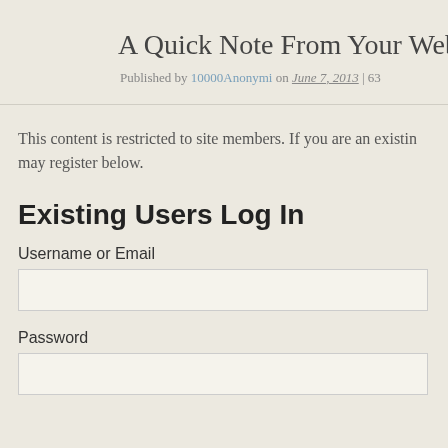A Quick Note From Your Web
Published by 10000Anonymi on June 7, 2013 | 63
This content is restricted to site members. If you are an existing member, please log in. New members may register below.
Existing Users Log In
Username or Email
Password